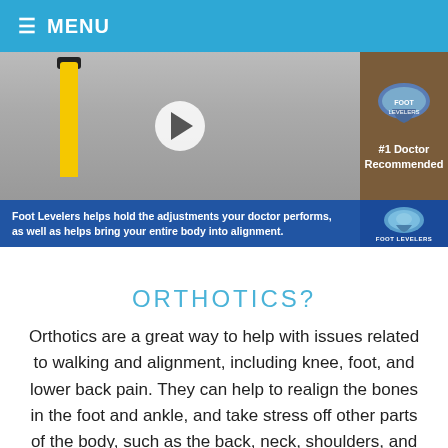≡ MENU
[Figure (screenshot): Video thumbnail showing a person walking on a street with a yellow bollard. Right sidebar shows '#1 Doctor Recommended' with a logo on brown background. Bottom bar reads: 'Foot Levelers helps hold the adjustments your doctor performs, as well as helps bring your entire body into alignment.' with Foot Levelers logo.]
ORTHOTICS?
Orthotics are a great way to help with issues related to walking and alignment, including knee, foot, and lower back pain. They can help to realign the bones in the foot and ankle, and take stress off other parts of the body, such as the back, neck, shoulders, and hips. Custom foot orthotics also